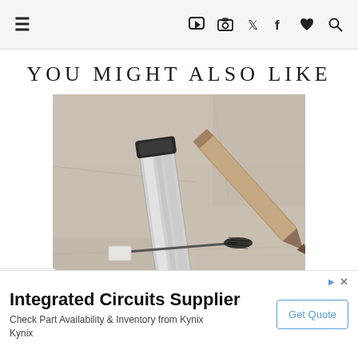≡  ▶  📷  🐦  f  ♥  🔍
YOU MIGHT ALSO LIKE
[Figure (photo): Two mascara products laying on a stone surface — one silver tube with a wand brush applicator, and one brown/taupe pencil-style product.]
Integrated Circuits Supplier
Check Part Availability & Inventory from Kynix Kynix
Get Quote